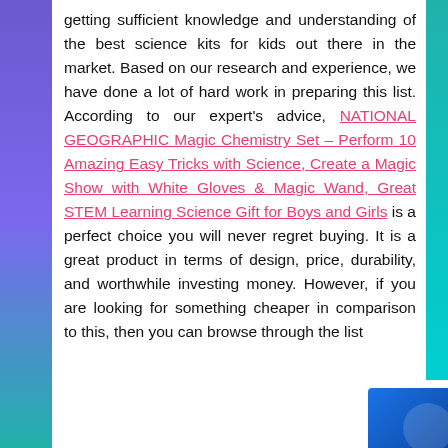getting sufficient knowledge and understanding of the best science kits for kids out there in the market. Based on our research and experience, we have done a lot of hard work in preparing this list. According to our expert's advice, NATIONAL GEOGRAPHIC Magic Chemistry Set – Perform 10 Amazing Easy Tricks with Science, Create a Magic Show with White Gloves & Magic Wand, Great STEM Learning Science Gift for Boys and Girls is a perfect choice you will never regret buying. It is a great product in terms of design, price, durability, and worthwhile investing money. However, if you are looking for something cheaper in comparison to this, then you can browse through the list...